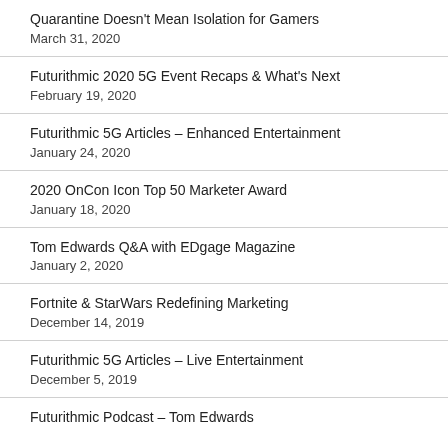Quarantine Doesn't Mean Isolation for Gamers
March 31, 2020
Futurithmic 2020 5G Event Recaps & What's Next
February 19, 2020
Futurithmic 5G Articles – Enhanced Entertainment
January 24, 2020
2020 OnCon Icon Top 50 Marketer Award
January 18, 2020
Tom Edwards Q&A with EDgage Magazine
January 2, 2020
Fortnite & StarWars Redefining Marketing
December 14, 2019
Futurithmic 5G Articles – Live Entertainment
December 5, 2019
Futurithmic Podcast – Tom Edwards